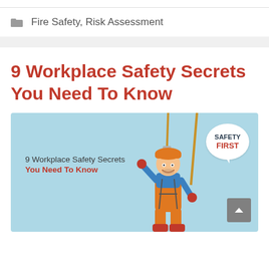Fire Safety, Risk Assessment
9 Workplace Safety Secrets You Need To Know
[Figure (illustration): Illustration of a construction worker in orange overalls and hard hat hanging from a rope harness, with a speech bubble saying 'SAFETY FIRST'. Text overlay reads '9 Workplace Safety Secrets You Need To Know' on a light blue background.]